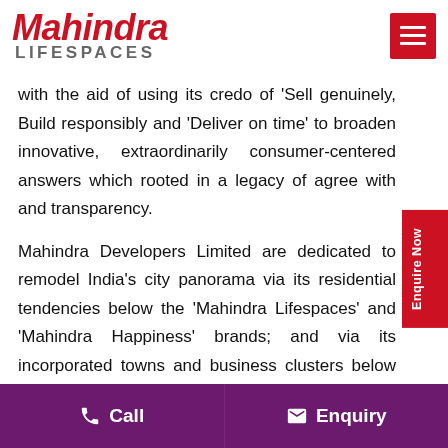[Figure (logo): Mahindra Lifespaces logo with red italic Mahindra text and grey LIFESPACES text]
with the aid of using its credo of 'Sell genuinely, Build responsibly and 'Deliver on time' to broaden innovative, extraordinarily consumer-centered answers which rooted in a legacy of agree with and transparency.
Mahindra Developers Limited are dedicated to remodel India's city panorama via its residential tendencies below the 'Mahindra Lifespaces' and 'Mahindra Happiness' brands; and via its incorporated towns and business clusters below the 'Mahindra World City' and 'Origins with the aid of using Mahindra World City' brands.
📞 Call   ✉ Enquiry